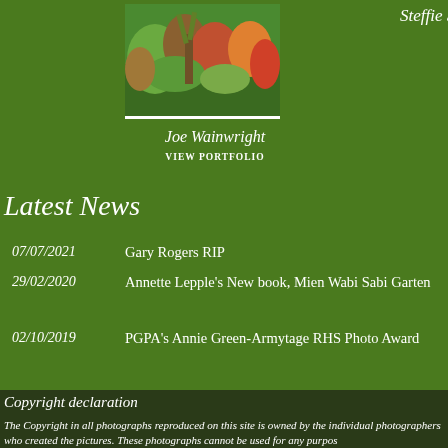[Figure (photo): Garden photo with colorful plants]
Steffie Shields MBE
VIEW PORTFOLIO
Joe Wainwright
VIEW PORTFOLIO
Latest News
07/07/2021    Gary Rogers RIP
29/02/2020    Annette Lepple's New book, Mien Wabi Sabi Garten
02/10/2019    PGPA's Annie Green-Armytage RHS Photo Award
Copyright declaration
The Copyright in all photographs reproduced on this site is owned by the individual photographers who created the pictures. These photographs cannot be used for any purpose